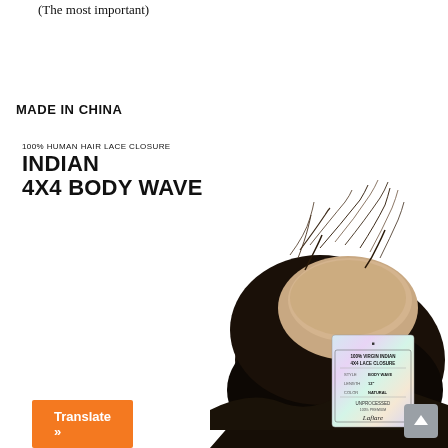(The most important)
MADE IN CHINA
100% HUMAN HAIR LACE CLOSURE
INDIAN
4X4 BODY WAVE
[Figure (photo): Photo of an Indian 4x4 body wave lace closure hair product with a holographic product label reading '100% Virgin Indian 4x4 Lace Closure, Style: Body Wave, Length: 12, Color: Natural, Unprocessed, Laflare']
Translate »